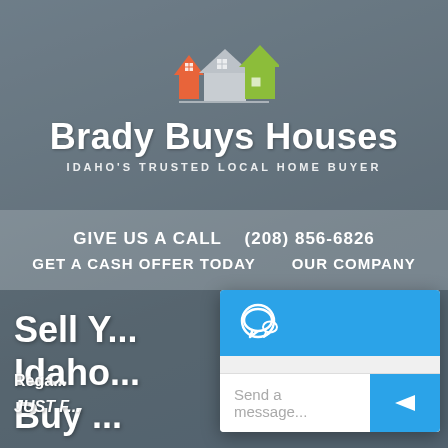[Figure (logo): Brady Buys Houses logo with colorful house icon (orange, grey, green)]
Brady Buys Houses
IDAHO'S TRUSTED LOCAL HOME BUYER
GIVE US A CALL   (208) 856-6826
GET A CASH OFFER TODAY   OUR COMPANY
Sell Y...
Idaho...
Buy ...
Rega...
JUST F...
[Figure (screenshot): Chat widget overlay with blue header containing speech bubble icon, grey message body area, and blue send button with white arrow icon. Placeholder text reads 'Send a message...']